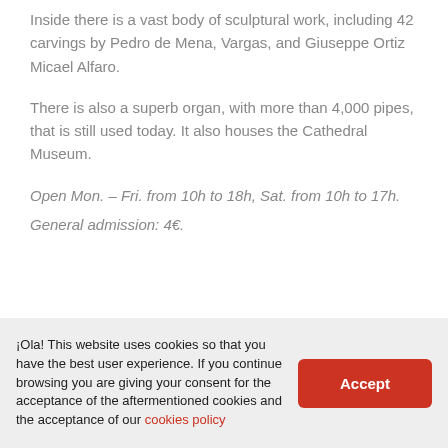Inside there is a vast body of sculptural work, including 42 carvings by Pedro de Mena, Vargas, and Giuseppe Ortiz Micael Alfaro.
There is also a superb organ, with more than 4,000 pipes, that is still used today. It also houses the Cathedral Museum.
Open Mon. – Fri. from 10h to 18h, Sat. from 10h to 17h.
General admission: 4€.
¡Ola! This website uses cookies so that you have the best user experience. If you continue browsing you are giving your consent for the acceptance of the aftermentioned cookies and the acceptance of our cookies policy